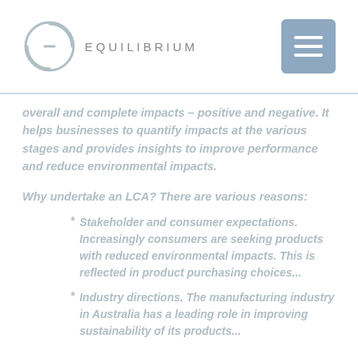[Figure (logo): Equilibrium logo: circular arrow icon with text EQUILIBRIUM and hamburger menu button]
overall and complete impacts – positive and negative. It helps businesses to quantify impacts at the various stages and provides insights to improve performance and reduce environmental impacts.
Why undertake an LCA? There are various reasons:
* Stakeholder and consumer expectations. Increasingly consumers are seeking products with reduced environmental impacts. This is reflected in product purchasing choices...
* Industry directions. The manufacturing industry in Australia has a leading role in improving sustainability of its products...